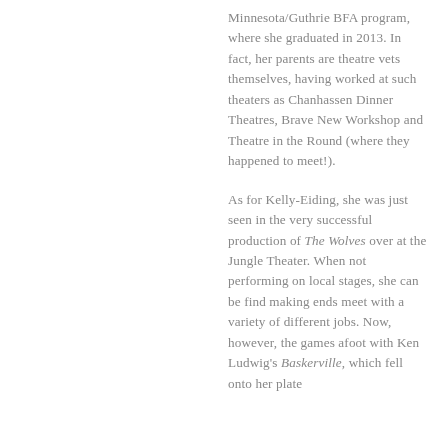Minnesota/Guthrie BFA program, where she graduated in 2013. In fact, her parents are theatre vets themselves, having worked at such theaters as Chanhassen Dinner Theatres, Brave New Workshop and Theatre in the Round (where they happened to meet!).
As for Kelly-Eiding, she was just seen in the very successful production of The Wolves over at the Jungle Theater. When not performing on local stages, she can be find making ends meet with a variety of different jobs. Now, however, the games afoot with Ken Ludwig's Baskerville, which fell onto her plate